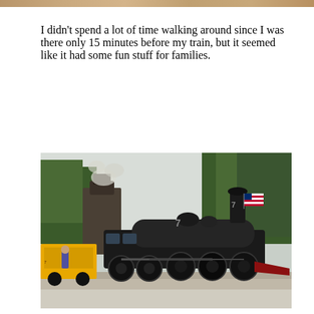[Figure (photo): Partial strip of images at the top of the page, cropped]
I didn't spend a lot of time walking around since I was there only 15 minutes before my train, but it seemed like it had some fun stuff for families.
[Figure (photo): A vintage black steam locomotive numbered 7 with an American flag, surrounded by trees, photographed from a low angle. A yellow train car is visible on the left.]